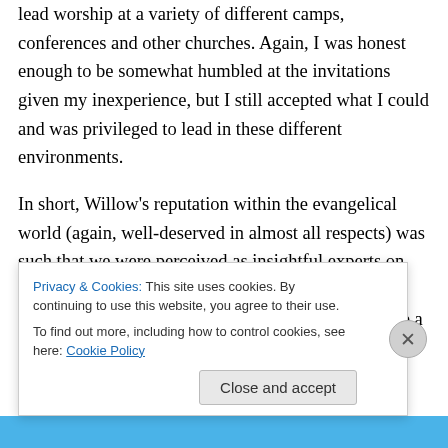lead worship at a variety of different camps, conferences and other churches. Again, I was honest enough to be somewhat humbled at the invitations given my inexperience, but I still accepted what I could and was privileged to lead in these different environments.
In short, Willow's reputation within the evangelical world (again, well-deserved in almost all respects) was such that we were perceived as insightful experts on ministry. People listened to what we had to say; they paid attention the questions we were asking (because a good post-
Privacy & Cookies: This site uses cookies. By continuing to use this website, you agree to their use.
To find out more, including how to control cookies, see here: Cookie Policy